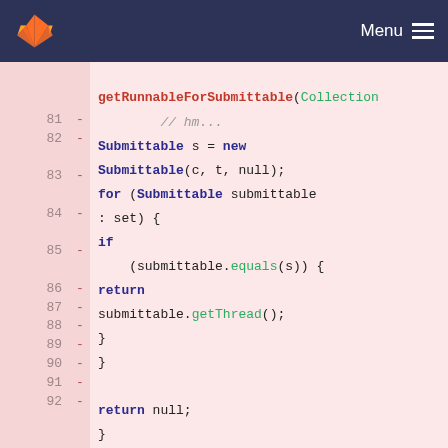Menu
[Figure (screenshot): GitLab code diff view showing Java source code lines 81-92, with deleted lines (red minus markers) on a pink background. Code shows getRunnableForSubmittable and getSubmission methods with syntax highlighting.]